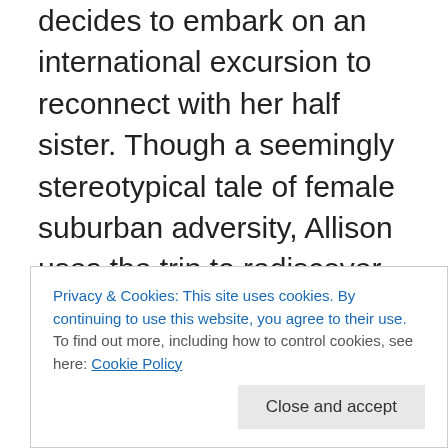Korea. With some pressure from her parents, Allison decides to embark on an international excursion to reconnect with her half sister. Though a seemingly stereotypical tale of female suburban adversity, Allison uses the trip to rediscover who she is underneath all the layers of “coveting,” heartache, and misery, and also to find a connection with her distant sister.

At times, the story does come off soap opera-ish, the opening is burdened with an information overload of character facts and histories. However, as the text continues, Baker presents the flashbacks through a
Privacy & Cookies: This site uses cookies. By continuing to use this website, you agree to their use.
To find out more, including how to control cookies, see here: Cookie Policy
Close and accept
eventually “adopts” and brings back to the US. Fast-